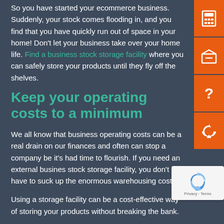So you have started your ecommerce business. Suddenly, your stock comes flooding in, and you find that you have quickly run out of space in your home! Don't let your business take over your home life. Find a business stock storage facility where you can safely store your products until they fly off the shelves.
Keep your operating costs to a minimum
We all know that business operating costs can be a real drain on our finances and often can stop a company before it's had time to flourish. If you need an external business stock storage facility, you don't have to suck up the enormous warehousing costs.
Using a storage facility can be a cost-effective way of storing your products without breaking the bank.
Great for smaller start-ups